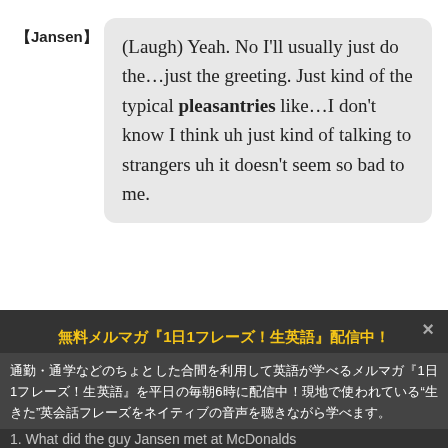【Jansen】
(Laugh) Yeah. No I'll usually just do the…just the greeting. Just kind of the typical pleasantries like…I don't know I think uh just kind of talking to strangers uh it doesn't seem so bad to me.
無料メルマガ『1日1フレーズ！生英語』配信中！
通勤・通学などのちょとした合間を利用して英語が学べるメルマガ『1日1フレーズ！生英語』を平日の毎朝6時に配信中！現地で使われている"生きた"英会話フレーズをネイティブの音声を聴きながら学べます。
1. What did the guy Jansen met at McDonalds talk about?
ジャンソンがマクドナルドで出会った人は何について話しましたか？
詳細＆申込みはこちら